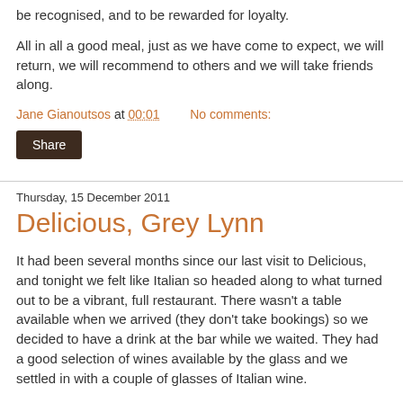be recognised, and to be rewarded for loyalty.
All in all a good meal, just as we have come to expect, we will return, we will recommend to others and we will take friends along.
Jane Gianoutsos at 00:01   No comments:
Share
Thursday, 15 December 2011
Delicious, Grey Lynn
It had been several months since our last visit to Delicious, and tonight we felt like Italian so headed along to what turned out to be a vibrant, full restaurant. There wasn't a table available when we arrived (they don't take bookings) so we decided to have a drink at the bar while we waited. They had a good selection of wines available by the glass and we settled in with a couple of glasses of Italian wine.